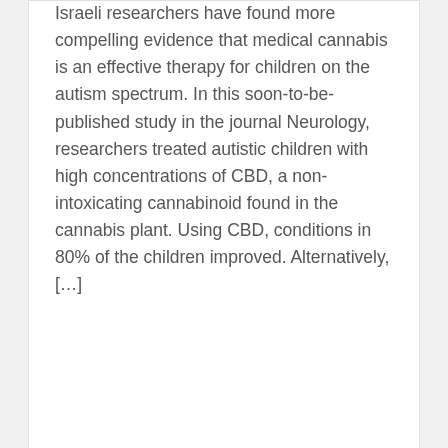Israeli researchers have found more compelling evidence that medical cannabis is an effective therapy for children on the autism spectrum. In this soon-to-be-published study in the journal Neurology, researchers treated autistic children with high concentrations of CBD, a non-intoxicating cannabinoid found in the cannabis plant. Using CBD, conditions in 80% of the children improved. Alternatively, […]
0